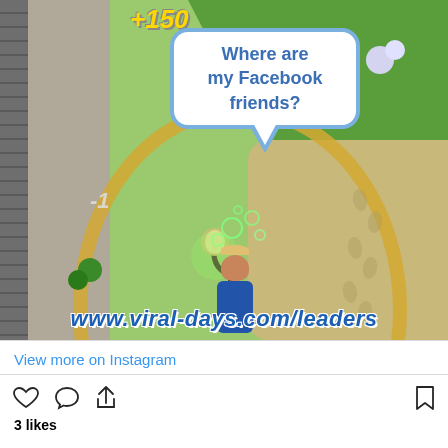[Figure (screenshot): Mobile game screenshot showing an isometric city-builder game. A character in a blue suit stands in a park area. A speech bubble reads 'Where are my Facebook friends?' with score indicators +150 and -1 visible. A URL watermark at the bottom reads www.viral-days.com/leaders]
Where are my Facebook friends?
www.viral-days.com/leaders
View more on Instagram
3 likes